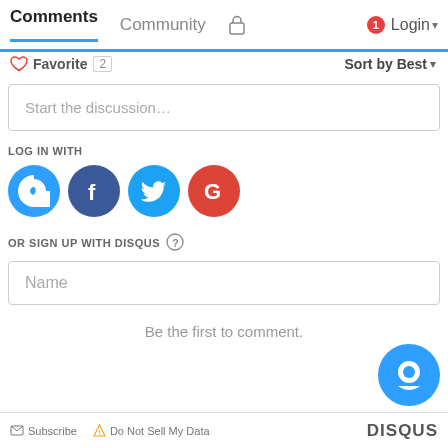Comments  Community  Login
♡ Favorite  2    Sort by Best
[Figure (screenshot): Disqus comment widget showing: Start the discussion input field, LOG IN WITH social icons (Disqus, Facebook, Twitter, Google), OR SIGN UP WITH DISQUS section with Name field, 'Be the first to comment.' message, Disqus chat bubble logo, Subscribe and Do Not Sell My Data footer links, DISQUS branding]